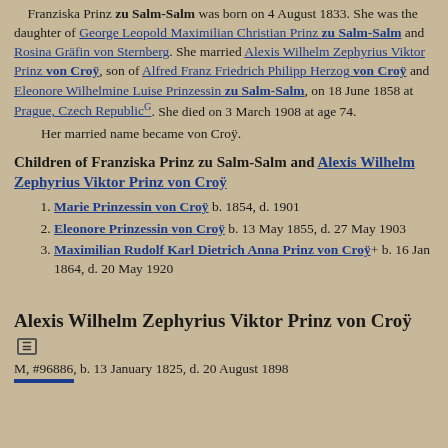Franziska Prinz zu Salm-Salm was born on 4 August 1833. She was the daughter of George Leopold Maximilian Christian Prinz zu Salm-Salm and Rosina Gräfin von Sternberg. She married Alexis Wilhelm Zephyrius Viktor Prinz von Croÿ, son of Alfred Franz Friedrich Philipp Herzog von Croÿ and Eleonore Wilhelmine Luise Prinzessin zu Salm-Salm, on 18 June 1858 at Prague, Czech RepublicG. She died on 3 March 1908 at age 74.
Her married name became von Croÿ.
Children of Franziska Prinz zu Salm-Salm and Alexis Wilhelm Zephyrius Viktor Prinz von Croÿ
Marie Prinzessin von Croÿ b. 1854, d. 1901
Eleonore Prinzessin von Croÿ b. 13 May 1855, d. 27 May 1903
Maximilian Rudolf Karl Dietrich Anna Prinz von Croÿ+ b. 16 Jan 1864, d. 20 May 1920
Alexis Wilhelm Zephyrius Viktor Prinz von Croÿ
M, #96886, b. 13 January 1825, d. 20 August 1898